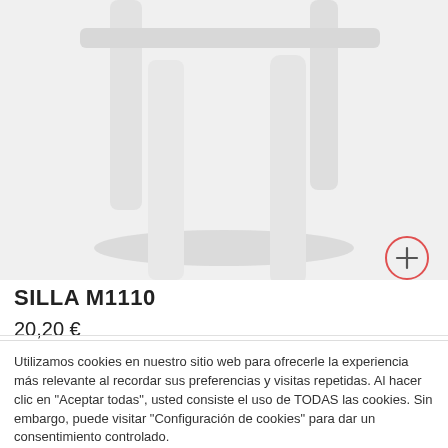[Figure (photo): Partial view of a white chair legs from below, showing light grey/white legs on a white/light grey background]
SILLA M1110
20,20 €
Utilizamos cookies en nuestro sitio web para ofrecerle la experiencia más relevante al recordar sus preferencias y visitas repetidas. Al hacer clic en "Aceptar todas", usted consiste el uso de TODAS las cookies. Sin embargo, puede visitar "Configuración de cookies" para dar un consentimiento controlado.
Ajustes | Aceptar todo